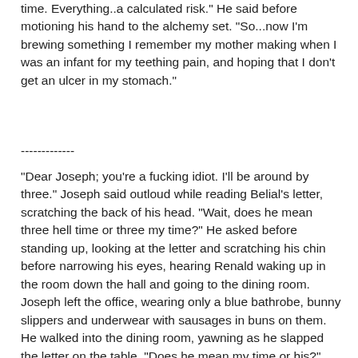time. Everything..a calculated risk." He said before motioning his hand to the alchemy set. "So...now I'm brewing something I remember my mother making when I was an infant for my teething pain, and hoping that I don't get an ulcer in my stomach."
-------------
"Dear Joseph; you're a fucking idiot. I'll be around by three." Joseph said outloud while reading Belial's letter, scratching the back of his head. "Wait, does he mean three hell time or three my time?" He asked before standing up, looking at the letter and scratching his chin before narrowing his eyes, hearing Renald waking up in the room down the hall and going to the dining room. Joseph left the office, wearing only a blue bathrobe, bunny slippers and underwear with sausages in buns on them. He walked into the dining room, yawning as he slapped the letter on the table. "Does he mean my time or his?"